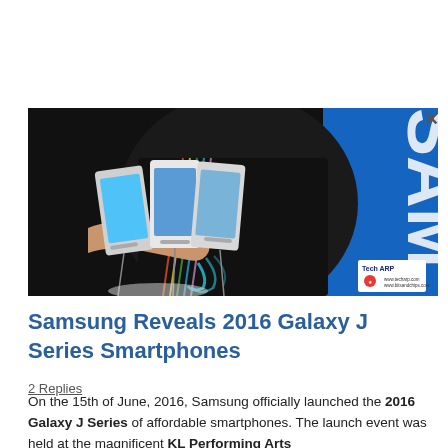[Figure (photo): A person wearing a black Samsung Galaxy J Series t-shirt holds up three Samsung smartphones. There is a blue Samsung banner/backdrop in the background. A Tech ARP watermark badge appears in the bottom right corner of the image.]
Samsung Reveals 2016 Galaxy J Series Smartphones
2 Replies
On the 15th of June, 2016, Samsung officially launched the 2016 Galaxy J Series of affordable smartphones. The launch event was held at the magnificent KL Performing Arts